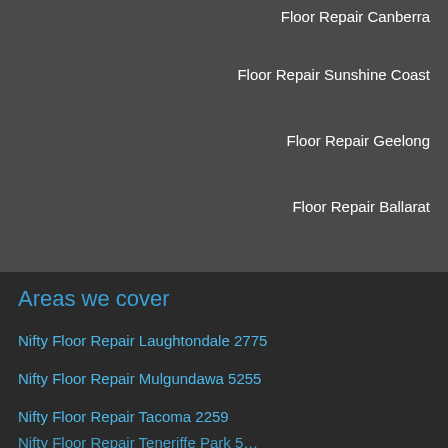Floor Repair Canberra
Floor Repair Sunshine Coast
Floor Repair Geelong
Floor Repair Ballarat
Areas we cover
Nifty Floor Repair Laughtondale 2775
Nifty Floor Repair Mulgundawa 5255
Nifty Floor Repair Tacoma 2259
Nifty Floor Repair Teneriffe Park 5...